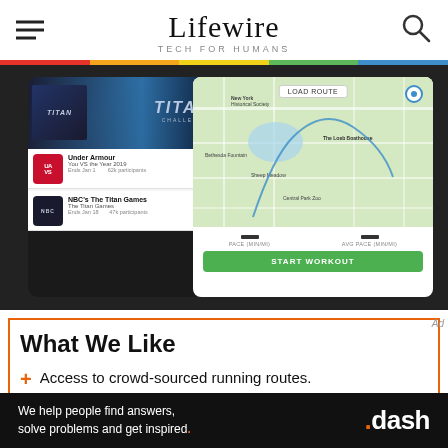Lifewire — TECH FOR HUMANS
[Figure (screenshot): Two mobile app screenshots side by side: left shows MapMyRun challenges list including Under Armour 'You VS the Year 2019' and NBC's The Titan Games challenges; right shows a map view of Central Park with LOAD ROUTE button, PACE (MIN/MI) and AVG PACE (MIN/MI) stats, and a green START WORKOUT button.]
What We Like
Access to crowd-sourced running routes.
[Figure (infographic): Advertisement banner: black background, white text reading 'We help people find answers, solve problems and get inspired.' and '.dash' logo with orange dot.]